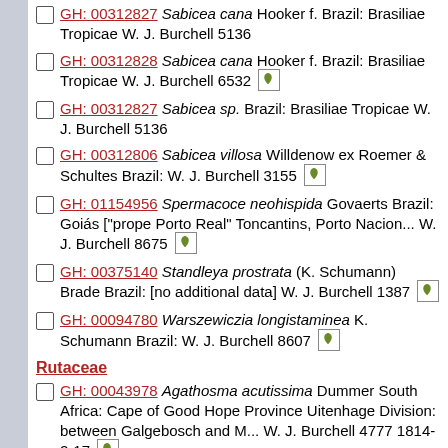GH: 00312827 Sabicea cana Hooker f. Brazil: Brasiliae Tropicae W. J. Burchell 5136
GH: 00312828 Sabicea cana Hooker f. Brazil: Brasiliae Tropicae W. J. Burchell 6532 [leaf icon]
GH: 00312827 Sabicea sp. Brazil: Brasiliae Tropicae W. J. Burchell 5136
GH: 00312806 Sabicea villosa Willdenow ex Roemer & Schultes Brazil: W. J. Burchell 3155 [leaf icon]
GH: 01154956 Spermacoce neohispida Govaerts Brazil: Goiás ["prope Porto Real" Toncantins, Porto Nacion... W. J. Burchell 8675 [leaf icon]
GH: 00375140 Standleya prostrata (K. Schumann) Brade Brazil: [no additional data] W. J. Burchell 1387 [leaf icon]
GH: 00094780 Warszewiczia longistaminea K. Schumann Brazil: W. J. Burchell 8607 [leaf icon]
Rutaceae
GH: 00043978 Agathosma acutissima Dummer South Africa: Cape of Good Hope Province Uitenhage Division: between Galgebosch and M... W. J. Burchell 4777 1814-2-17 [leaf icon]